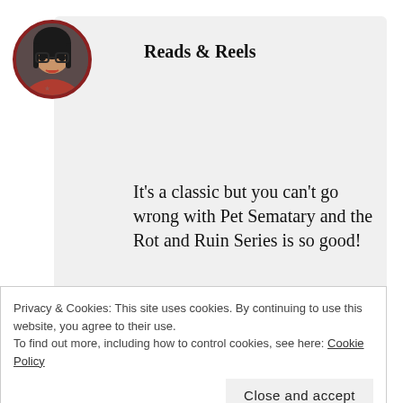[Figure (photo): Circular avatar photo of a woman with glasses and dark hair, with a dark red/maroon border, positioned top-left]
Reads & Reels
It’s a classic but you can’t go wrong with Pet Sematary and the Rot and Ruin Series is so good!
★ Like
Privacy & Cookies: This site uses cookies. By continuing to use this website, you agree to their use.
To find out more, including how to control cookies, see here: Cookie Policy
Close and accept
[Figure (photo): Partial circular avatar at the bottom of the page, partially cropped]